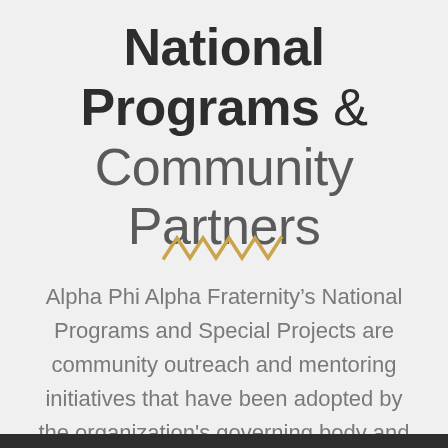National Programs & Community Partners
[Figure (illustration): Decorative golden zigzag/wave line ornament]
Alpha Phi Alpha Fraternity’s National Programs and Special Projects are community outreach and mentoring initiatives that have been adopted by the organization's governing body and mandated for implementation by all of its chapters.